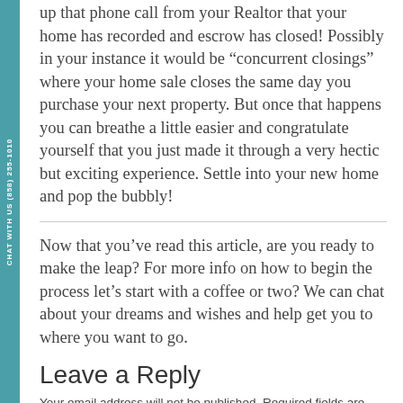up that phone call from your Realtor that your home has recorded and escrow has closed! Possibly in your instance it would be “concurrent closings” where your home sale closes the same day you purchase your next property. But once that happens you can breathe a little easier and congratulate yourself that you just made it through a very hectic but exciting experience. Settle into your new home and pop the bubbly!
Now that you’ve read this article, are you ready to make the leap? For more info on how to begin the process let’s start with a coffee or two? We can chat about your dreams and wishes and help get you to where you want to go.
Leave a Reply
Your email address will not be published. Required fields are marked *